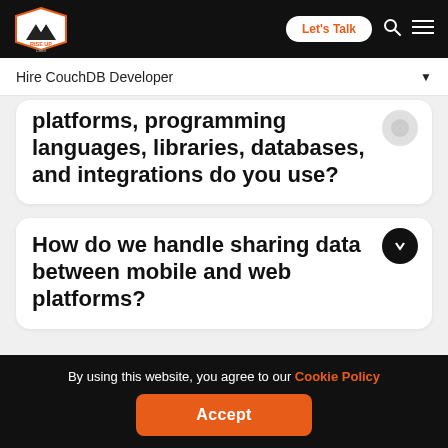Rise Up Labs — Let's Talk
Hire CouchDB Developer
platforms, programming languages, libraries, databases, and integrations do you use?
How do we handle sharing data between mobile and web platforms?
By using this website, you agree to our Cookie Policy
Accept